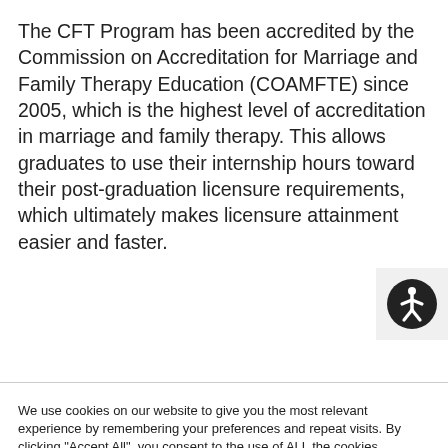The CFT Program has been accredited by the Commission on Accreditation for Marriage and Family Therapy Education (COAMFTE) since 2005, which is the highest level of accreditation in marriage and family therapy. This allows graduates to use their internship hours toward their post-graduation licensure requirements, which ultimately makes licensure attainment easier and faster.
[Figure (other): Accessibility icon button — circle with a human figure (wheelchair accessibility symbol)]
We use cookies on our website to give you the most relevant experience by remembering your preferences and repeat visits. By clicking "Accept All", you consent to the use of ALL the cookies. However, you may visit "Cookie Settings" to provide a controlled consent.